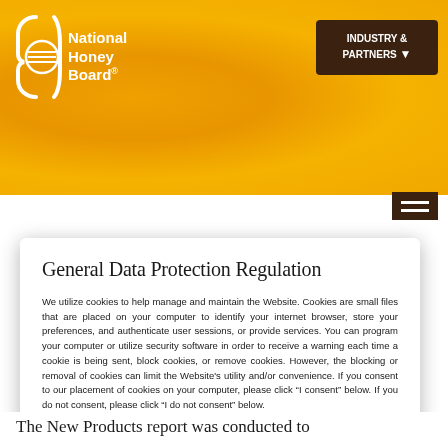[Figure (logo): National Honey Board logo with stylized honeycomb/bee icon and white text on amber background]
INDUSTRY & PARTNERS
General Data Protection Regulation
We utilize cookies to help manage and maintain the Website. Cookies are small files that are placed on your computer to identify your internet browser, store your preferences, and authenticate user sessions, or provide services. You can program your computer or utilize security software in order to receive a warning each time a cookie is being sent, block cookies, or remove cookies. However, the blocking or removal of cookies can limit the Website’s utility and/or convenience. If you consent to our placement of cookies on your computer, please click “I consent” below. If you do not consent, please click “I do not consent” below.
Necessary  Preferences  Statistics  Marketing
The New Products report was conducted to